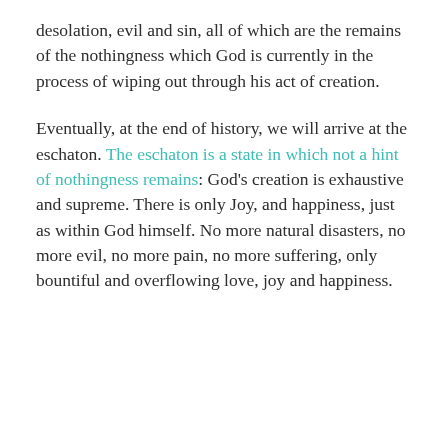desolation, evil and sin, all of which are the remains of the nothingness which God is currently in the process of wiping out through his act of creation.
Eventually, at the end of history, we will arrive at the eschaton. The eschaton is a state in which not a hint of nothingness remains: God's creation is exhaustive and supreme. There is only Joy, and happiness, just as within God himself. No more natural disasters, no more evil, no more pain, no more suffering, only bountiful and overflowing love, joy and happiness.